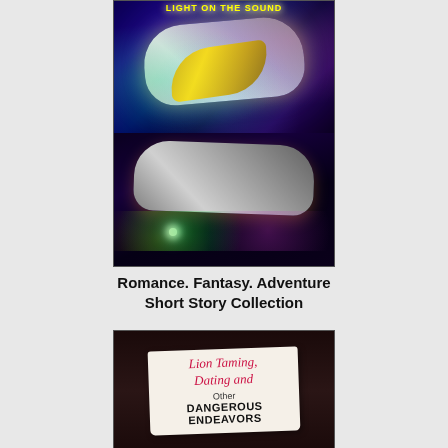[Figure (illustration): Book cover for 'Light on the Sound' — a science fiction themed cover with chromatic/metallic fish-like objects against a deep blue cosmic background with aurora-like colors. The cover appears split into two panels. Top text reads 'LIGHT ON THE SOUND' in yellow letters.]
Romance. Fantasy. Adventure
Short Story Collection
[Figure (photo): Book cover image showing a fabric tag or label on dark cloth. The tag reads in cursive pink/red text 'Lion Taming, Dating and' followed in regular print 'Other DANGEROUS ENDEAVORS'.]